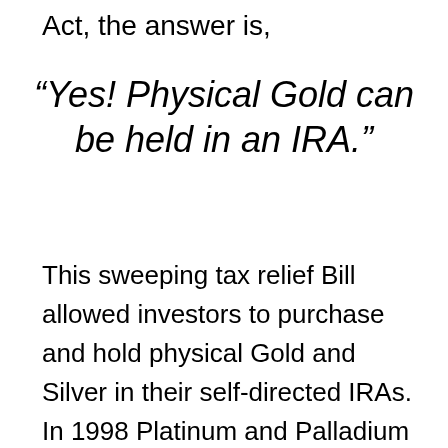Act, the answer is,
“Yes! Physical Gold can be held in an IRA.”
This sweeping tax relief Bill allowed investors to purchase and hold physical Gold and Silver in their self-directed IRAs. In 1998 Platinum and Palladium were added to the list of permitted metals.